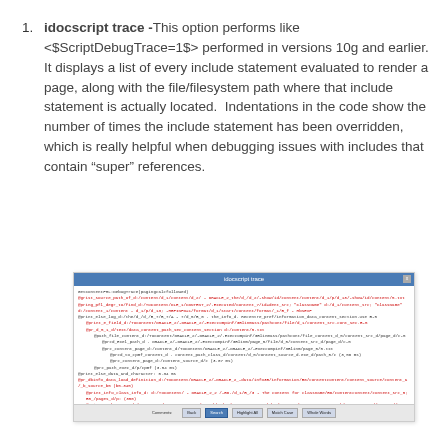idocscript trace -This option performs like <$ScriptDebugTrace=1$> performed in versions 10g and earlier.  It displays a list of every include statement evaluated to render a page, along with the file/filesystem path where that include statement is actually located.  Indentations in the code show the number of times the include statement has been overridden, which is really helpful when debugging issues with includes that contain “super” references.
[Figure (screenshot): A screenshot of a debug trace window showing indented code lines with file paths and include statements, displayed in a dialog box with a blue title bar and toolbar buttons at the bottom.]